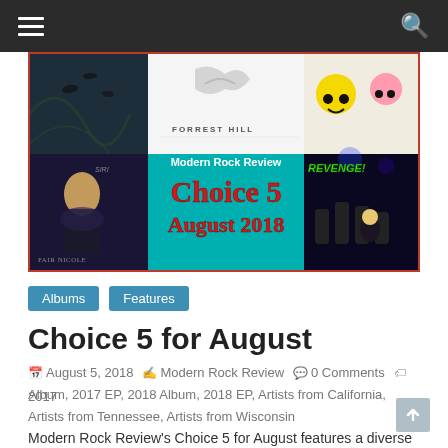Navigation bar with hamburger menu and search icon
[Figure (illustration): Modern Rock Review Choice 5 August 2018 banner image showing multiple album covers on a teal background with decorative gothic text]
Albums   Features
Choice 5 for August
August 5, 2018   Modern Rock Review   0 Comments   2017 Album, 2017 EP, 2018 Album, 2018 EP, Artists from California, Artists from Tennessee, Artists from Wisconsin
Modern Rock Review's Choice 5 for August features a diverse set of new albums and EPs by Joshua Ketchmark,